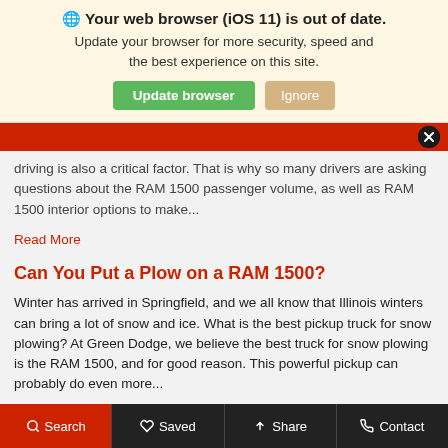🌐 Your web browser (iOS 11) is out of date. Update your browser for more security, speed and the best experience on this site.
driving is also a critical factor. That is why so many drivers are asking questions about the RAM 1500 passenger volume, as well as RAM 1500 interior options to make...
Read More
Can You Put a Plow on a RAM 1500?
Winter has arrived in Springfield, and we all know that Illinois winters can bring a lot of snow and ice. What is the best pickup truck for snow plowing? At Green Dodge, we believe the best truck for snow plowing is the RAM 1500, and for good reason. This powerful pickup can probably do even more...
Read More
Search   Saved   Share   Contact